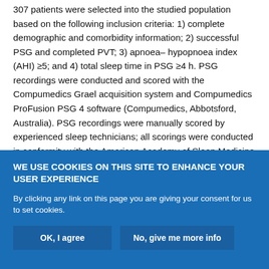307 patients were selected into the studied population based on the following inclusion criteria: 1) complete demographic and comorbidity information; 2) successful PSG and completed PVT; 3) apnoea–hypopnoea index (AHI) ≥5; and 4) total sleep time in PSG ≥4 h. PSG recordings were conducted and scored with the Compumedics Grael acquisition system and Compumedics ProFusion PSG 4 software (Compumedics, Abbotsford, Australia). PSG recordings were manually scored by experienced sleep technicians; all scorings were conducted in conformity with the American Academy of Sleep Medicine (AASM) 2012 guidelines [19]. None of the included patients had central sleep apnoea, i.e. the proportion of central apnoeas did not exceed 50% of the total number of apnoeas.
WE USE COOKIES ON THIS SITE TO ENHANCE YOUR USER EXPERIENCE
By clicking any link on this page you are giving your consent for us to set cookies.